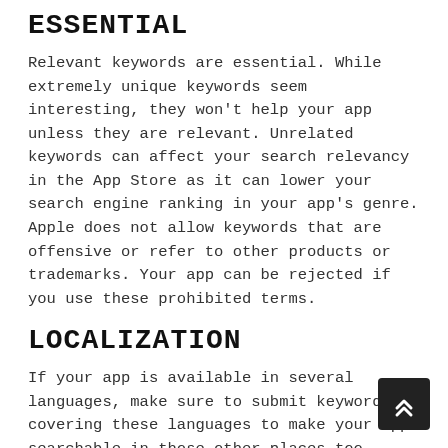ESSENTIAL
Relevant keywords are essential. While extremely unique keywords seem interesting, they won't help your app unless they are relevant. Unrelated keywords can affect your search relevancy in the App Store as it can lower your search engine ranking in your app's genre. Apple does not allow keywords that are offensive or refer to other products or trademarks. Your app can be rejected if you use these prohibited terms.
LOCALIZATION
If your app is available in several languages, make sure to submit keywords covering these languages to make your app searchable in those other places too.
DOUBLE CHECK YOUR APP